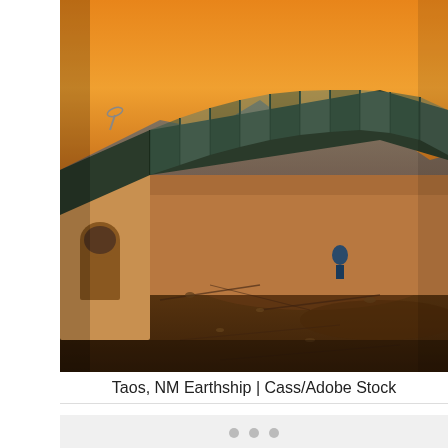[Figure (photo): Earthship building in Taos, NM at sunset/dusk. Building has angled solar panels on the roof, adobe-style walls. Desert landscape with mountains in background under orange sky.]
Taos, NM Earthship | Cass/Adobe Stock
[Figure (infographic): Social share sidebar with Facebook (628 shares), Pinterest (191 shares), and Twitter buttons. Shows 819 total SHARES overlay on the photo.]